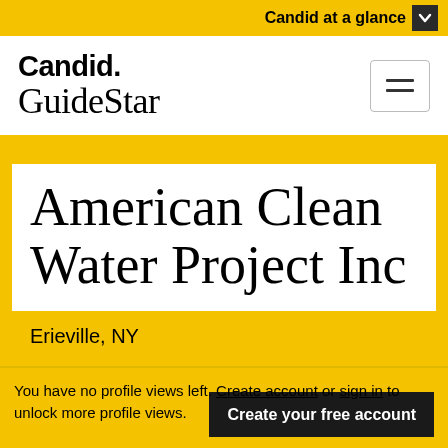Candid at a glance
Candid. GuideStar
American Clean Water Project Inc
Erieville, NY
You have no profile views left. Create account or sign in to unlock more profile views.
Create your free account